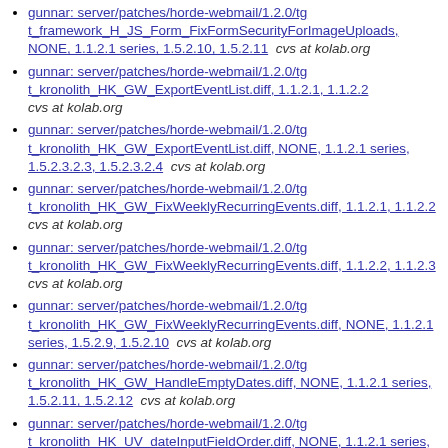gunnar: server/patches/horde-webmail/1.2.0/tg t_framework_H_JS_Form_FixFormSecurityForImageUploads, NONE, 1.1.2.1 series, 1.5.2.10, 1.5.2.11  cvs at kolab.org
gunnar: server/patches/horde-webmail/1.2.0/tg t_kronolith_HK_GW_ExportEventList.diff, 1.1.2.1, 1.1.2.2  cvs at kolab.org
gunnar: server/patches/horde-webmail/1.2.0/tg t_kronolith_HK_GW_ExportEventList.diff, NONE, 1.1.2.1 series, 1.5.2.3.2.3, 1.5.2.3.2.4  cvs at kolab.org
gunnar: server/patches/horde-webmail/1.2.0/tg t_kronolith_HK_GW_FixWeeklyRecurringEvents.diff, 1.1.2.1, 1.1.2.2  cvs at kolab.org
gunnar: server/patches/horde-webmail/1.2.0/tg t_kronolith_HK_GW_FixWeeklyRecurringEvents.diff, 1.1.2.2, 1.1.2.3  cvs at kolab.org
gunnar: server/patches/horde-webmail/1.2.0/tg t_kronolith_HK_GW_FixWeeklyRecurringEvents.diff, NONE, 1.1.2.1 series, 1.5.2.9, 1.5.2.10  cvs at kolab.org
gunnar: server/patches/horde-webmail/1.2.0/tg t_kronolith_HK_GW_HandleEmptyDates.diff, NONE, 1.1.2.1 series, 1.5.2.11, 1.5.2.12  cvs at kolab.org
gunnar: server/patches/horde-webmail/1.2.0/tg t_kronolith_HK_UV_dateInputFieldOrder.diff, NONE, 1.1.2.1 series, 1.5.2.8, 1.5.2.9  cvs at kolab.org
gunnar: server/patches/horde-webmail/1.2.0/tg